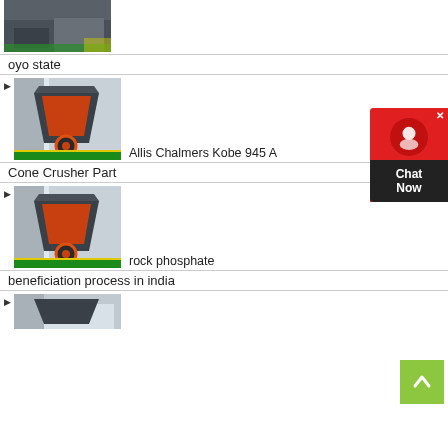[Figure (photo): Industrial machine/equipment in factory - partial top crop]
oyo state
Allis Chalmers Kobe 945 A  Cone Crusher Part
[Figure (photo): Cone crusher machine in industrial warehouse setting]
rock phosphate beneficiation process in india
[Figure (photo): Cone crusher machine in industrial warehouse setting]
[Figure (photo): Partial image of industrial equipment at bottom]